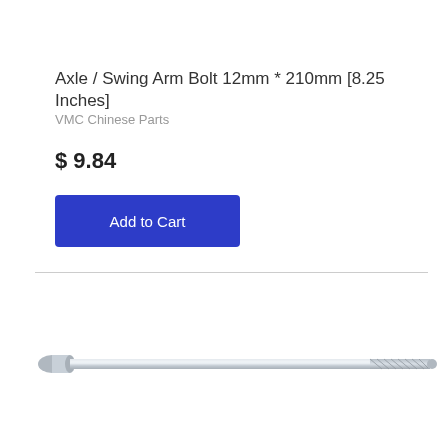Axle / Swing Arm Bolt 12mm * 210mm [8.25 Inches]
VMC Chinese Parts
$ 9.84
Add to Cart
[Figure (photo): Photo of a silver zinc-plated axle / swing arm bolt, 12mm x 210mm, shown horizontally against a white background. The bolt has a hexagonal head on one end and threading on the other.]